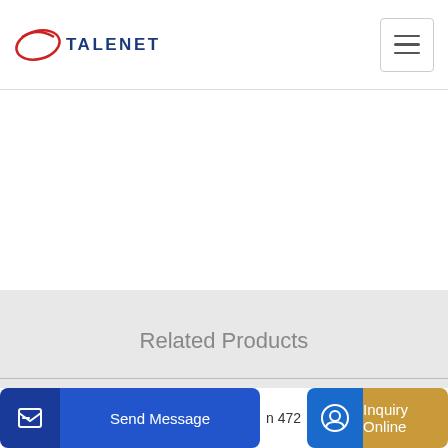TALENET
Related Products
Top 50 Concrete Pumps On Hire in Santacruz East
hydraulic system mobile diesel continuous concrete mixer
n 472
Send Message
Inquiry Online